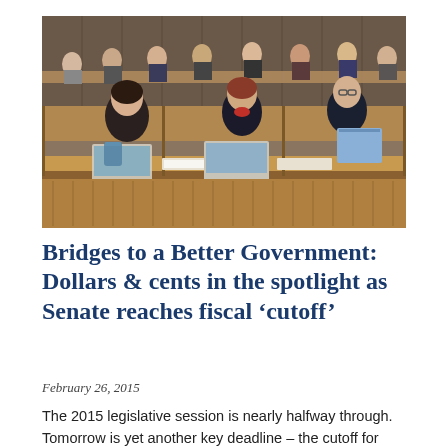[Figure (photo): Legislative hearing room with officials seated at a curved wooden bench dais; people with laptops and papers, wooden paneling in background.]
Bridges to a Better Government: Dollars & cents in the spotlight as Senate reaches fiscal ‘cutoff’
February 26, 2015
The 2015 legislative session is nearly halfway through. Tomorrow is yet another key deadline – the cutoff for bills before the Ways and Means and Transportation